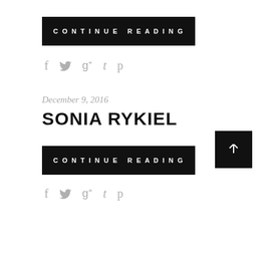CONTINUE READING
f  ❧  g+  t  p (social share icons)
December 9, 2016
SONIA RYKIEL
CONTINUE READING
f  ❧  g+  t  p (social share icons)